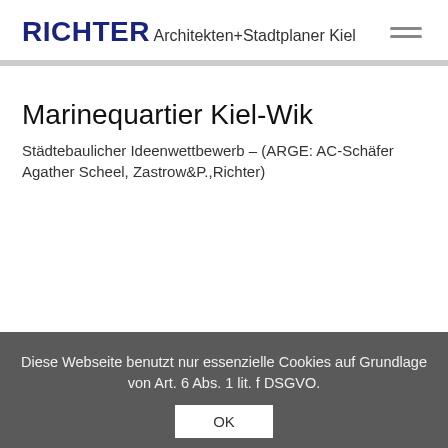RICHTER Architekten+Stadtplaner Kiel
Marinequartier Kiel-Wik
Städtebaulicher Ideenwettbewerb – (ARGE: AC-Schäfer Agather Scheel, Zastrow&P.,Richter)
Diese Webseite benutzt nur essenzielle Cookies auf Grundlage von Art. 6 Abs. 1 lit. f DSGVO.
OK